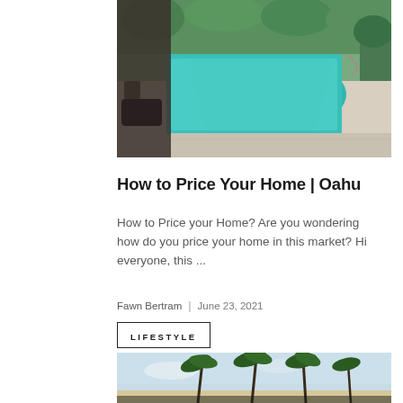[Figure (photo): Outdoor swimming pool with teal water surrounded by patio and tropical greenery]
How to Price Your Home | Oahu
How to Price your Home? Are you wondering how do you price your home in this market? Hi everyone, this ...
Fawn Bertram  |  June 23, 2021
LIFESTYLE
[Figure (photo): Tropical beach scene with palm trees against a blue sky]